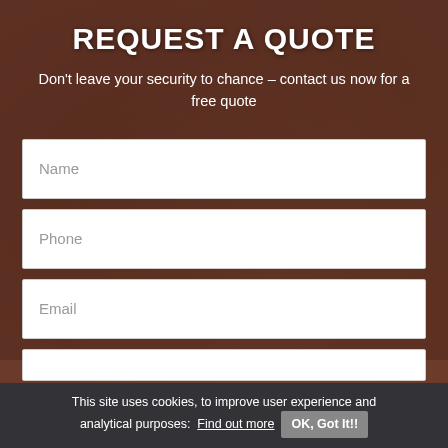REQUEST A QUOTE
Don't leave your security to chance – contact us now for a free quote
Name
Phone
Email
This site uses cookies, to improve user experience and analytical purposes:  Find out more  OK, Got It!!